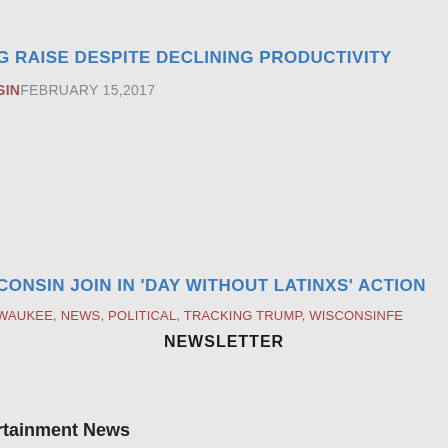G RAISE DESPITE DECLINING PRODUCTIVITY
SINFEBRUARY 15,2017
CONSIN JOIN IN 'DAY WITHOUT LATINXS' ACTION
WAUKEE, NEWS, POLITICAL, TRACKING TRUMP, WISCONSINFE
NEWSLETTER
rtainment News